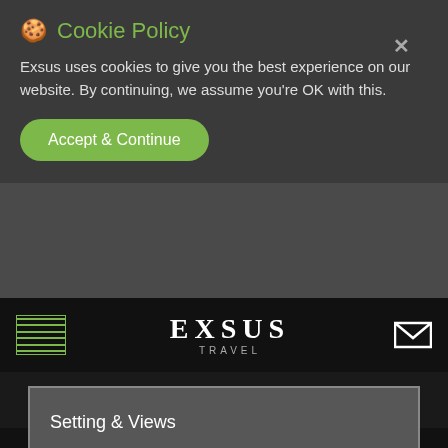🍪 Cookie Policy
Exsus uses cookies to give you the best experience on our website. By continuing, we assume you're OK with this.
Accept & Continue
[Figure (screenshot): Exsus Travel website navigation bar with hamburger menu, EXSUS TRAVEL logo, and mail icon]
+1 347 809 3426
Setting & Views
Cultural Immersion
Riding
Walking & Trekking